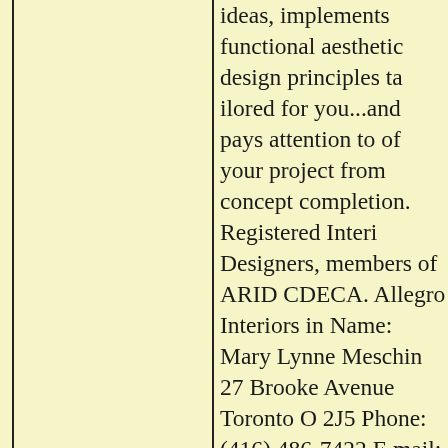ideas, implements functional aesthetic design principles tailored for you...and pays attention to all of your project from concept to completion. Registered Interior Designers, members of ARIDO, CDECA. Allegro Interiors inc. Contact Name: Mary Lynne Meschino Address: 27 Brooke Avenue Toronto ON M5P 2J5 Phone: (416) 486-7422 E-mail: allegro.1@sympatico.ca Web: allegro.1@sympatico.ca Comments: At Allegro Interiors, every client matters - we take pride in creating beautiful spaces that truly reflect your needs and lifestyle. With our wide range of decorating and design services we offer creative and practical solutions to all your decorating challenges! DELIGHTFUL INTERIORS & DECOR Contact Name: Sima Lorenzo Address: 112 ROYALWOOD WAY WOODBRIDGE ONTARIO L4H1J6 Phone: 905-850-9531 E-mail: did23@rogers.com Web: WWW.DELIGHTFULINTE... Comments: Delightful Interio...